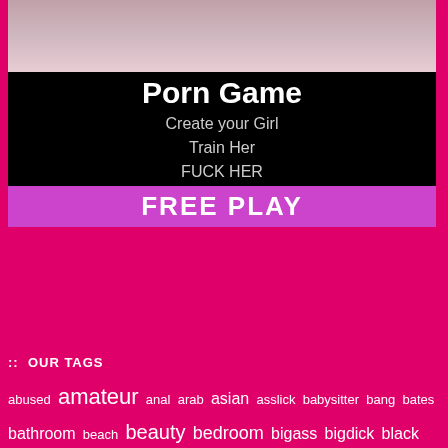[Figure (photo): Advertisement image placeholder at top]
Porn Game
Create your Girl
Train Her
FUCK HER
FREE PLAY
:: OUR TAGS
abused amateur anal arab asian asslick babysitter bang bates bathroom beach beauty bedroom bigass bigdick black blond blowjob booty shake bottle boyfriend british brunette brushbate bukkake busty car chubby classmate closeup college couple
[Figure (photo): Video thumbnail of Turkish webcam girl]
Turkish webcam girl - suck, fuck...
Length: 16:49    Date: 2016-09-24
[Figure (screenshot): Chaturbate live cam - blondeshavmorfun, 24 viewers]
blondeshavmorfun
3 HRS 25 MINS   1016 CURRENT VIEWERS
LIVE CHAT BOX powered by CHATURBATE:
blondeshavmorfun: I know you do Ben lol